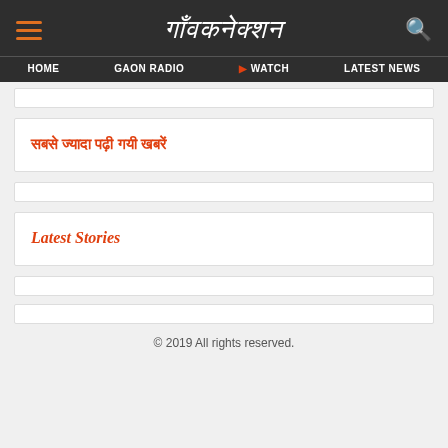गाँवकनेक्शन — HOME | GAON RADIO | WATCH | LATEST NEWS
सबसे ज्यादा पढ़ी गयी खबरें
Latest Stories
© 2019 All rights reserved.